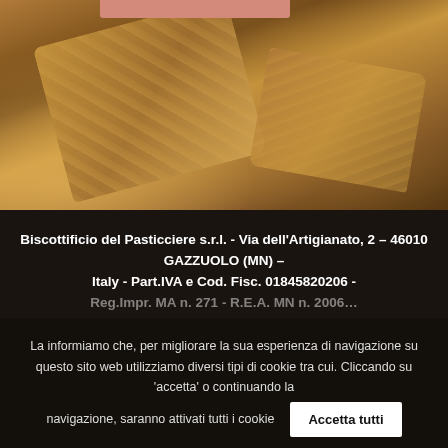[Figure (photo): Close-up photo of artisanal biscuits/cookies with a golden-brown texture, dark warm-toned background with a small pink navigation bar element at top]
Biscottificio del Pasticciere s.r.l. - Via dell'Artigianato, 2 – 46010 GAZZUOLO (MN) – Italy - Part.IVA e Cod. Fisc. 01845820206 - Reg.Impr. MN n. 271 - R.E.A. MN n. 2006...
La informiamo che, per migliorare la sua esperienza di navigazione su questo sito web utilizziamo diversi tipi di cookie tra cui. Cliccando su 'accetta' o continuando la navigazione, saranno attivati tutti i cookie
Accetta tutti
Leggi